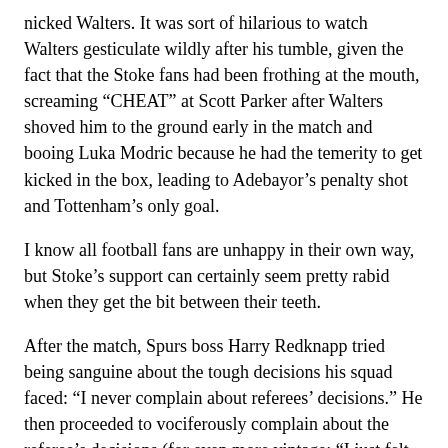nicked Walters. It was sort of hilarious to watch Walters gesticulate wildly after his tumble, given the fact that the Stoke fans had been frothing at the mouth, screaming “CHEAT” at Scott Parker after Walters shoved him to the ground early in the match and booing Luka Modric because he had the temerity to get kicked in the box, leading to Adebayor’s penalty shot and Tottenham’s only goal.
I know all football fans are unhappy in their own way, but Stoke’s support can certainly seem pretty rabid when they get the bit between their teeth.
After the match, Spurs boss Harry Redknapp tried being sanguine about the tough decisions his squad faced: “I never complain about referees’ decisions.” He then proceeded to vociferously complain about the referee’s decisions (for even more vintage: “I just felt like he was quite enjoying not giving us anything”). In the end, what can you do? Forget it, Harry. It’s Stoketown. (For more instant vintage winery from Harrry, check Quote of the Week.)
Step Overs